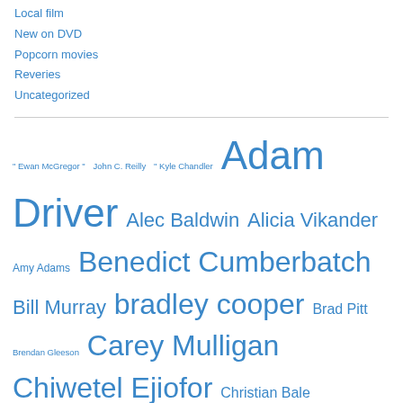Local film
New on DVD
Popcorn movies
Reveries
Uncategorized
[Figure (infographic): Tag cloud of actor names in various font sizes reflecting frequency/importance. Names include: Ewan McGregor, John C. Reilly, Kyle Chandler, Adam Driver, Alec Baldwin, Alicia Vikander, Amy Adams, Benedict Cumberbatch, Bill Murray, bradley cooper, Brad Pitt, Brendan Gleeson, Carey Mulligan, Chiwetel Ejiofor, Christian Bale, Christopher Plummer, clint eastwood, colin firth, Emily Blunt, Emma Stone, Emma Thompson, Ethan Hawke, Gary Oldman, greta gerwig, Guy Pearce, Harvey]